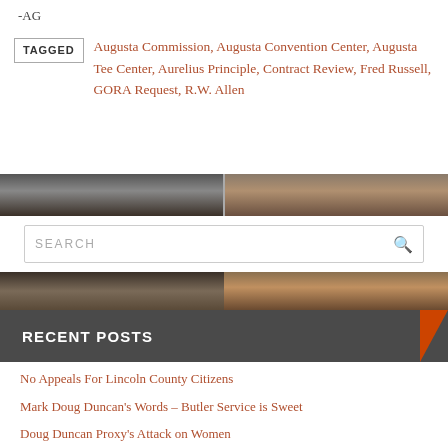-AG
TAGGED Augusta Commission, Augusta Convention Center, Augusta Tee Center, Aurelius Principle, Contract Review, Fred Russell, GORA Request, R.W. Allen
[Figure (photo): Nature/outdoor photo strip showing rocks and foliage]
SEARCH
[Figure (photo): Nature/outdoor photo strip showing rocks and foliage]
RECENT POSTS
No Appeals For Lincoln County Citizens
Mark Doug Duncan's Words – Butler Service is Sweet
Doug Duncan Proxy's Attack on Women
Austin Rhodes' Wag the Dog Strategy on Pam Tucker
Columbia County B.Y.O.B. Finances